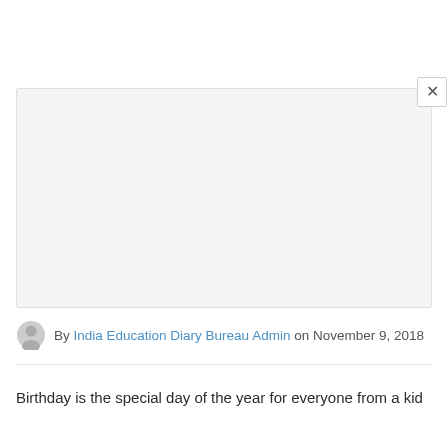[Figure (other): A large light grey rectangular placeholder box (advertisement or image area) with a close (×) button in the upper right corner]
By India Education Diary Bureau Admin on November 9, 2018
Birthday is the special day of the year for everyone from a kid